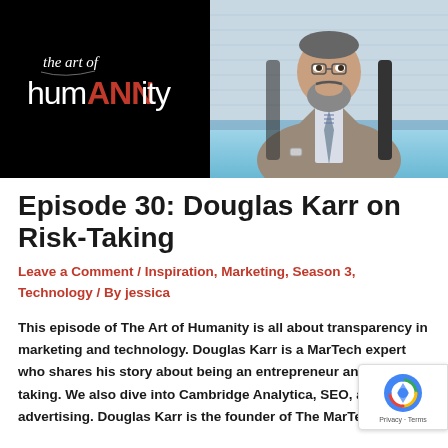[Figure (logo): The Art of humANNity podcast logo — white handwritten text on black background]
[Figure (photo): Professional headshot of Douglas Karr, a bearded man in a suit, seated at a table]
Episode 30: Douglas Karr on Risk-Taking
Leave a Comment / Inspiration, Marketing, Season 3, Technology / By jessica
This episode of The Art of Humanity is all about transparency in marketing and technology. Douglas Karr is a MarTech expert who shares his story about being an entrepreneur and risk-taking. We also dive into Cambridge Analytica, SEO, and advertising. Douglas Karr is the founder of The MarTech Blog